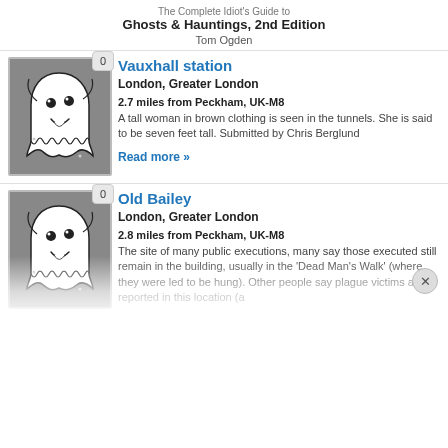The Complete Idiot's Guide to Ghosts & Hauntings, 2nd Edition
Tom Ogden
Vauxhall station
London, Greater London
2.7 miles from Peckham, UK-M8
A tall woman in brown clothing is seen in the tunnels. She is said to be seven feet tall. Submitted by Chris Berglund
Read more »
[Figure (illustration): Ghost cartoon icon on grey background with badge showing 0]
Old Bailey
London, Greater London
2.8 miles from Peckham, UK-M8
The site of many public executions, many say those executed still remain in the building, usually in the 'Dead Man's Walk' (where they were led to be hung). Other people say plague victims are reported in this location (a
[Figure (illustration): Ghost cartoon icon on grey background with badge showing 0]